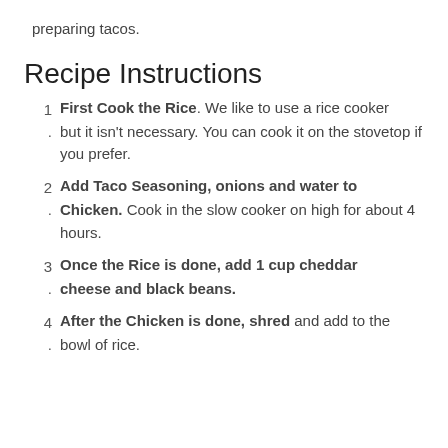preparing tacos.
Recipe Instructions
First Cook the Rice. We like to use a rice cooker but it isn't necessary. You can cook it on the stovetop if you prefer.
Add Taco Seasoning, onions and water to Chicken. Cook in the slow cooker on high for about 4 hours.
Once the Rice is done, add 1 cup cheddar cheese and black beans.
After the Chicken is done, shred and add to the bowl of rice.